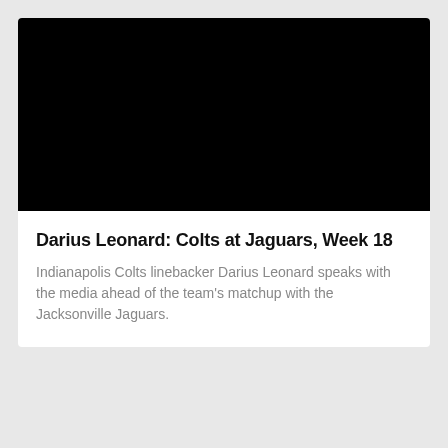[Figure (photo): Black video thumbnail placeholder for Darius Leonard press conference video]
Darius Leonard: Colts at Jaguars, Week 18
Indianapolis Colts linebacker Darius Leonard speaks with the media ahead of the team's matchup with the Jacksonville Jaguars.